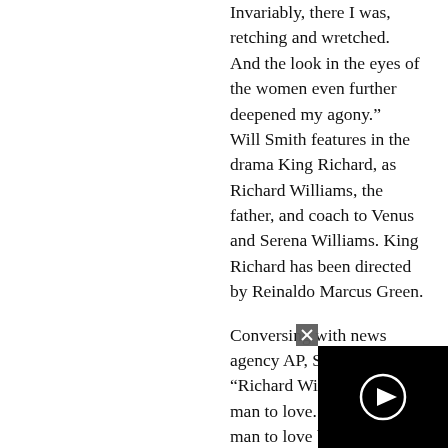Invariably, there I was, retching and wretched. And the look in the eyes of the women even further deepened my agony." Will Smith features in the drama King Richard, as Richard Williams, the father, and coach to Venus and Serena Williams. King Richard has been directed by Reinaldo Marcus Green.

Conversing with news agency AP, Smith said, “Richard Williams is a hard man to love. Bu... man to love be... hard he loves. He has been